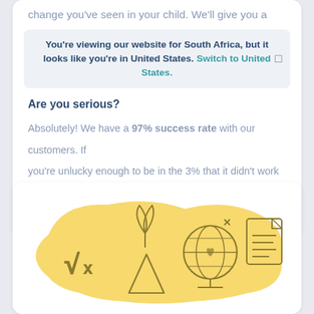change you've seen in your child. We'll give you a
You're viewing our website for South Africa, but it looks like you're in United States. Switch to United States.
Are you serious?
Absolutely! We have a 97% success rate with our customers. If you're unlucky enough to be in the 3% that it didn't work for, we don't want you to have to pay for it.
[Figure (illustration): Yellow blob background with educational icons: square root symbol, plant/leaves with triangle, globe with heart, and document with lines]